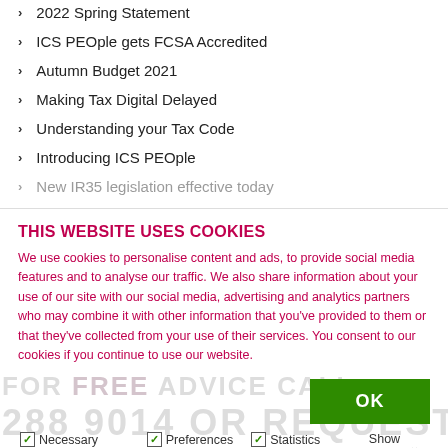2022 Spring Statement
ICS PEOple gets FCSA Accredited
Autumn Budget 2021
Making Tax Digital Delayed
Understanding your Tax Code
Introducing ICS PEOple
New IR35 legislation effective today
THIS WEBSITE USES COOKIES
We use cookies to personalise content and ads, to provide social media features and to analyse our traffic. We also share information about your use of our site with our social media, advertising and analytics partners who may combine it with other information that you've provided to them or that they've collected from your use of their services. You consent to our cookies if you continue to use our website.
Necessary  Preferences  Statistics  Marketing  Show details